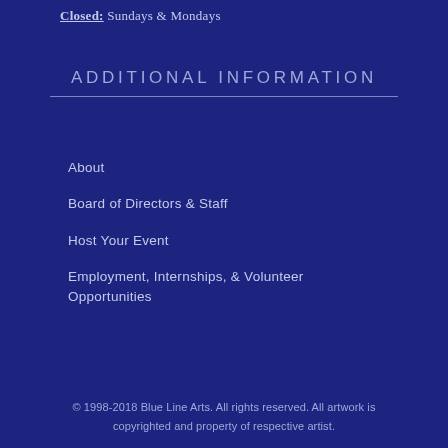Closed: Sundays & Mondays
ADDITIONAL INFORMATION
About
Board of Directors & Staff
Host Your Event
Employment, Internships, & Volunteer Opportunities
© 1998-2018 Blue Line Arts.  All rights reserved. All artwork is copyrighted and property of respective artist.